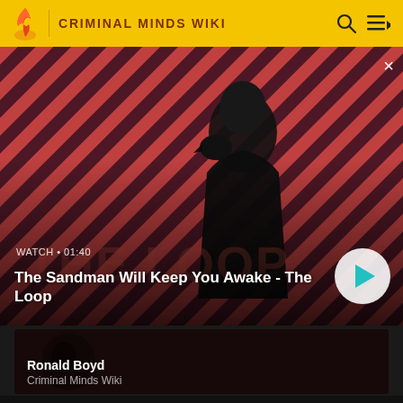CRIMINAL MINDS WIKI
[Figure (screenshot): Video thumbnail for 'The Sandman Will Keep You Awake - The Loop' showing a dark figure with a crow on shoulder against red/pink diagonal stripe background. Shows WATCH • 01:40 label and a play button.]
The Sandman Will Keep You Awake - The Loop
[Figure (photo): Dark article card thumbnail showing a face in shadow. Title: Ronald Boyd. Source: Criminal Minds Wiki.]